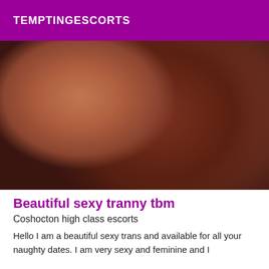TEMPTINGESCORTS
[Figure (photo): Close-up photo of a person with auburn/red hair lying down, face partially visible showing nose and mouth with a slight smile.]
Beautiful sexy tranny tbm
Coshocton high class escorts
Hello I am a beautiful sexy trans and available for all your naughty dates. I am very sexy and feminine and I